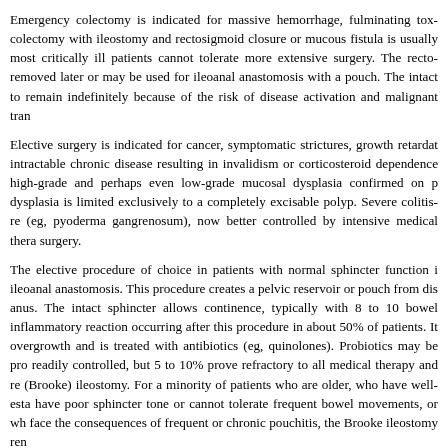Emergency colectomy is indicated for massive hemorrhage, fulminating tox colectomy with ileostomy and rectosigmoid closure or mucous fistula is usually most critically ill patients cannot tolerate more extensive surgery. The recto removed later or may be used for ileoanal anastomosis with a pouch. The intact to remain indefinitely because of the risk of disease activation and malignant tran
Elective surgery is indicated for cancer, symptomatic strictures, growth retardat intractable chronic disease resulting in invalidism or corticosteroid dependence high-grade and perhaps even low-grade mucosal dysplasia confirmed on p dysplasia is limited exclusively to a completely excisable polyp. Severe colitis-re (eg, pyoderma gangrenosum), now better controlled by intensive medical thera surgery.
The elective procedure of choice in patients with normal sphincter function i ileoanal anastomosis. This procedure creates a pelvic reservoir or pouch from dis anus. The intact sphincter allows continence, typically with 8 to 10 bowel inflammatory reaction occurring after this procedure in about 50% of patients. It overgrowth and is treated with antibiotics (eg, quinolones). Probiotics may be pro readily controlled, but 5 to 10% prove refractory to all medical therapy and re (Brooke) ileostomy. For a minority of patients who are older, who have well-esta have poor sphincter tone or cannot tolerate frequent bowel movements, or wh face the consequences of frequent or chronic pouchitis, the Brooke ileostomy ren
In any event, the physical and emotional burdens imposed by any form of colon care should be taken to see that the patient receives all the instructions and all th that is necessary before and after surgery.